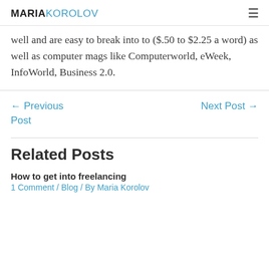MARIAKOROLOV
well and are easy to break into to ($.50 to $2.25 a word) as well as computer mags like Computerworld, eWeek, InfoWorld, Business 2.0.
← Previous Post
Next Post →
Related Posts
How to get into freelancing
1 Comment / Blog / By Maria Korolov